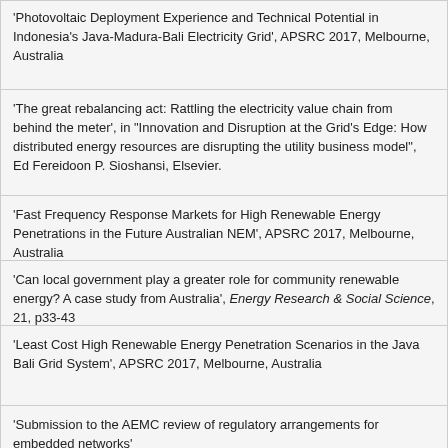'Photovoltaic Deployment Experience and Technical Potential in Indonesia's Java-Madura-Bali Electricity Grid', APSRC 2017, Melbourne, Australia
'The great rebalancing act: Rattling the electricity value chain from behind the meter', in "Innovation and Disruption at the Grid's Edge: How distributed energy resources are disrupting the utility business model", Ed Fereidoon P. Sioshansi, Elsevier.
'Fast Frequency Response Markets for High Renewable Energy Penetrations in the Future Australian NEM', APSRC 2017, Melbourne, Australia
'Can local government play a greater role for community renewable energy? A case study from Australia', Energy Research & Social Science, 21, p33-43
'Least Cost High Renewable Energy Penetration Scenarios in the Java Bali Grid System', APSRC 2017, Melbourne, Australia
'Submission to the AEMC review of regulatory arrangements for embedded networks'
'PV for Apartment Builldings: Which Side of the Meter?', APSRC 2017,